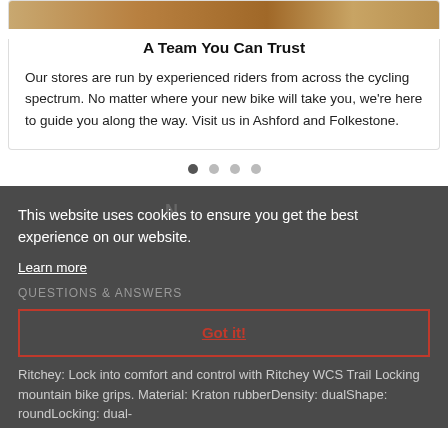[Figure (photo): Partial image of a dirt/gravel cycling trail, sandy brown color at the top of the card]
A Team You Can Trust
Our stores are run by experienced riders from across the cycling spectrum. No matter where your new bike will take you, we're here to guide you along the way. Visit us in Ashford and Folkestone.
[Figure (other): Carousel navigation dots — four circles, first one active/dark, rest light grey]
This website uses cookies to ensure you get the best experience on our website.
Learn more
QUESTIONS & ANSWERS
Got it!
Ritchey: Lock into comfort and control with Ritchey WCS Trail Locking mountain bike grips. Material: Kraton rubberDensity: dualShape: roundLocking: dual-